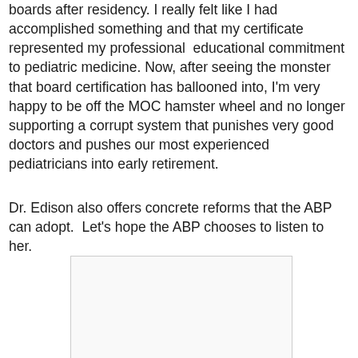boards after residency. I really felt like I had accomplished something and that my certificate represented my professional  educational commitment to pediatric medicine. Now, after seeing the monster that board certification has ballooned into, I'm very happy to be off the MOC hamster wheel and no longer supporting a corrupt system that punishes very good doctors and pushes our most experienced pediatricians into early retirement.
Dr. Edison also offers concrete reforms that the ABP can adopt.  Let's hope the ABP chooses to listen to her.
[Figure (other): A partially visible image/embedded content box with a light gray background and border]